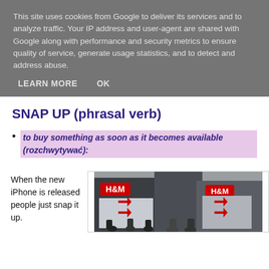This site uses cookies from Google to deliver its services and to analyze traffic. Your IP address and user-agent are shared with Google along with performance and security metrics to ensure quality of service, generate usage statistics, and to detect and address abuse.
LEARN MORE   OK
SNAP UP (phrasal verb)
to buy something as soon as it becomes available (rozchwytywać):
When the new iPhone is released people just snap it up.
[Figure (photo): Photo of an H&M store with people in front, showing a storefront with H&M logo and sale arrows/signs]